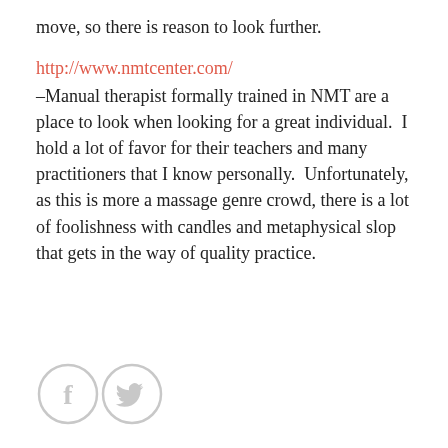move, so there is reason to look further.
http://www.nmtcenter.com/
–Manual therapist formally trained in NMT are a place to look when looking for a great individual.  I hold a lot of favor for their teachers and many practitioners that I know personally.  Unfortunately, as this is more a massage genre crowd, there is a lot of foolishness with candles and metaphysical slop that gets in the way of quality practice.
[Figure (other): Facebook and Twitter social media icon circles in light gray]